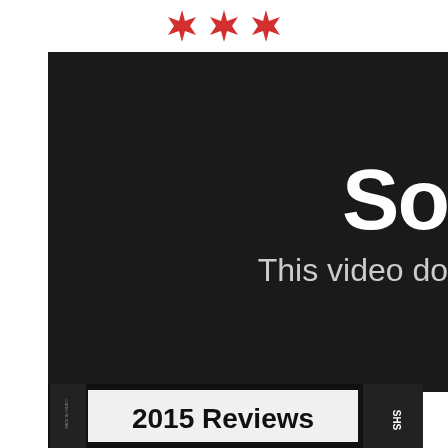[Figure (other): Three red asterisk/snowflake star icons arranged horizontally at the top of the page against a white background]
[Figure (screenshot): A dark/black video error screen showing partial text 'So' in large white bold font and below it 'This video do' in smaller white text — a YouTube-style unavailable video message]
[Figure (photo): Photo of a VHS tape label/cassette showing text '2015 Reviews' in large bold white text on a black tape background with 'SHS' branding visible on the right side]